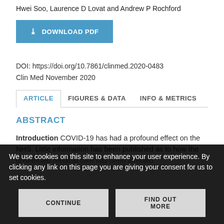Hwei Soo, Laurence D Lovat and Andrew P Rochford
[Figure (other): Blue download PDF button with arrow/download icon]
DOI: https://doi.org/10.7861/clinmed.2020-0483
Clin Med November 2020
ARTICLE   FIGURES & DATA   INFO & METRICS
ABSTRACT
Introduction COVID-19 has had a profound effect on the NHS. Little information has been published as to how the unselected medical take has been affected
We use cookies on this site to enhance your user experience. By clicking any link on this page you are giving your consent for us to set cookies.